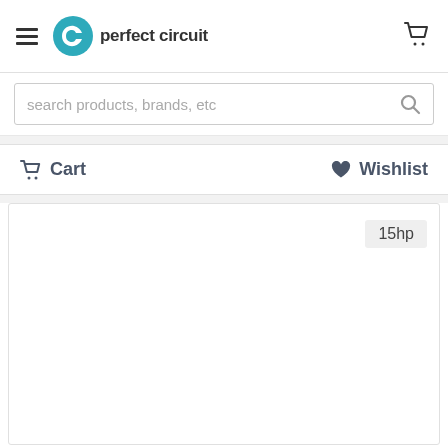[Figure (logo): Perfect Circuit logo with teal circular icon and bold text 'perfect circuit']
search products, brands, etc
Cart
Wishlist
15hp